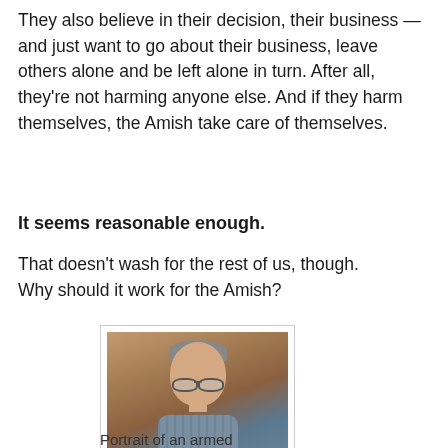They also believe in their decision, their business — and just want to go about their business, leave others alone and be left alone in turn. After all, they're not harming anyone else. And if they harm themselves, the Amish take care of themselves.
It seems reasonable enough.
That doesn't wash for the rest of us, though.
Why should it work for the Amish?
[Figure (photo): Portrait photo of an older man with glasses wearing a plaid/checkered shirt, standing in front of a wooden background.]
Portrait of an armed busybody . . .